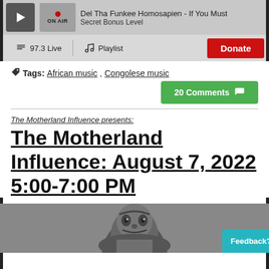Del Tha Funkee Homosapien - If You Must | Secret Bonus Level | ON AIR
97.3 Live | Playlist | Donate
Tags: African music, Congolese music
20 Comments
The Motherland Influence presents:
The Motherland Influence: August 7, 2022 5:00-7:00 PM
[Figure (photo): Black and white photo of a person, partially visible at bottom of page]
Feedback?